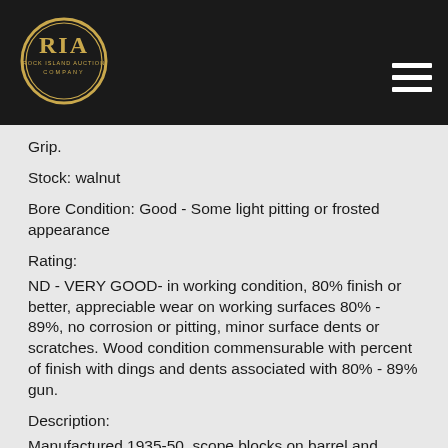[Figure (logo): Rock Island Auction Company (RIA) logo — gold oval with RIA text on dark background header]
Grip.
Stock: walnut
Bore Condition: Good - Some light pitting or frosted appearance
Rating:
ND - VERY GOOD- in working condition, 80% finish or better, appreciable wear on working surfaces 80% - 89%, no corrosion or pitting, minor surface dents or scratches. Wood condition commensurable with percent of finish with dings and dents associated with 80% - 89% gun.
Description:
Manufactured 1935-50, scope blocks on barrel and receiver.